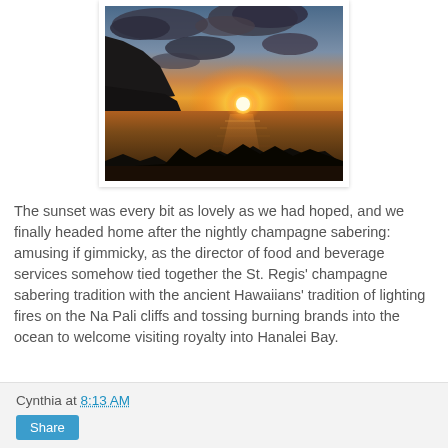[Figure (photo): Sunset over the ocean with silhouetted cliffs on the left and dark foreground trees/vegetation at the bottom. The sun is low on the horizon with orange and gold light reflecting on the water, dramatic clouds in a blue-gray sky.]
The sunset was every bit as lovely as we had hoped, and we finally headed home after the nightly champagne sabering: amusing if gimmicky, as the director of food and beverage services somehow tied together the St. Regis’ champagne sabering tradition with the ancient Hawaiians’ tradition of lighting fires on the Na Pali cliffs and tossing burning brands into the ocean to welcome visiting royalty into Hanalei Bay.
Cynthia at 8:13 AM
Share